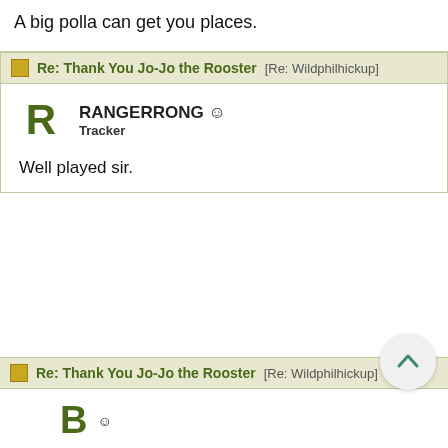A big polla can get you places.
Re: Thank You Jo-Jo the Rooster [Re: Wildphilhickup]
RANGERRONG
Tracker
Well played sir.
Re: Thank You Jo-Jo the Rooster [Re: Wildphilhickup]